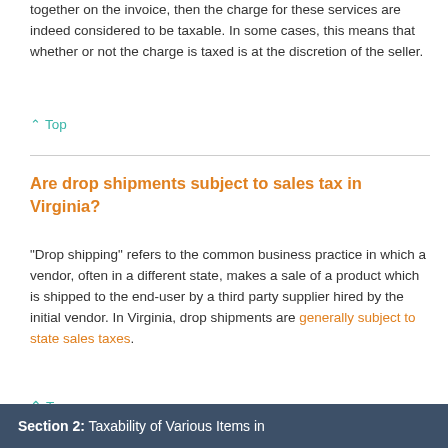together on the invoice, then the charge for these services are indeed considered to be taxable. In some cases, this means that whether or not the charge is taxed is at the discretion of the seller.
^ Top
Are drop shipments subject to sales tax in Virginia?
"Drop shipping" refers to the common business practice in which a vendor, often in a different state, makes a sale of a product which is shipped to the end-user by a third party supplier hired by the initial vendor. In Virginia, drop shipments are generally subject to state sales taxes.
^ Top
Section 2: Taxability of Various Items in